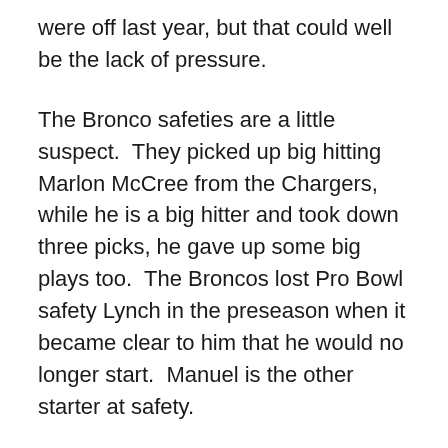were off last year, but that could well be the lack of pressure.
The Bronco safeties are a little suspect.  They picked up big hitting Marlon McCree from the Chargers, while he is a big hitter and took down three picks, he gave up some big plays too.  The Broncos lost Pro Bowl safety Lynch in the preseason when it became clear to him that he would no longer start.  Manuel is the other starter at safety.
The middle linebackers are anchored by DJ Williams, he has been moved around a lot, he is now back at his preferred Weak side and seems primed to be a force there.  Unfortunately he appears to be anchoring a rowboat.  The Broncos are trying Boss Bailey who washed out of the Detroit Lions.  While the Broncos are